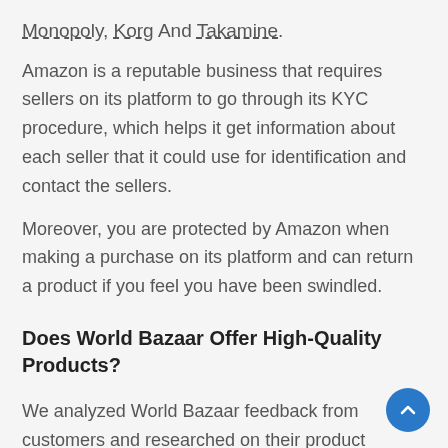Monopoly, Korg And Takamine.
Amazon is a reputable business that requires sellers on its platform to go through its KYC procedure, which helps it get information about each seller that it could use for identification and contact the sellers.
Moreover, you are protected by Amazon when making a purchase on its platform and can return a product if you feel you have been swindled.
Does World Bazaar Offer High-Quality Products?
We analyzed World Bazaar feedback from customers and researched on their product